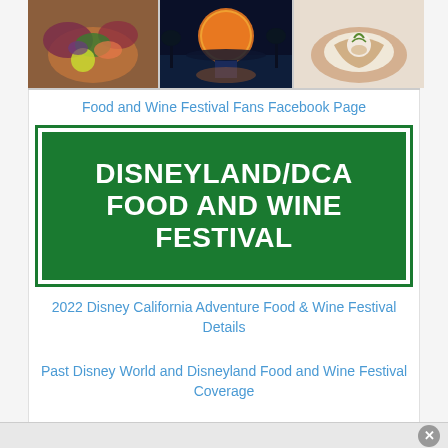[Figure (photo): Three photos in a horizontal strip: left shows a colorful salad with red cabbage and lime, center shows the Epcot Spaceship Earth sphere illuminated at night with reflection on water, right shows a dessert or appetizer with cream and garnish.]
Food and Wine Festival Fans Facebook Page
[Figure (logo): Green rectangular logo with white text reading DISNEYLAND/DCA FOOD AND WINE FESTIVAL, with a white border inside the green background.]
2022 Disney California Adventure Food & Wine Festival Details
Past Disney World and Disneyland Food and Wine Festival Coverage